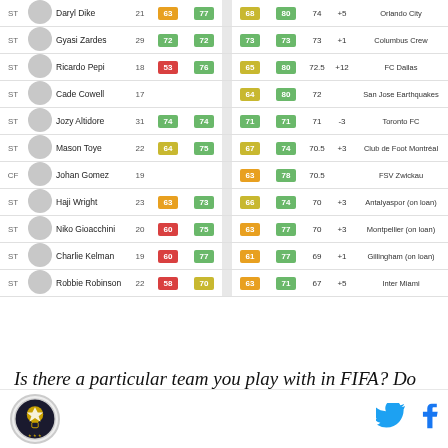| Pos |  | Name | Age | OVR | POT |  |  |  | Δ | Club |
| --- | --- | --- | --- | --- | --- | --- | --- | --- | --- | --- |
| ST |  | Daryl Dike | 21 | 63 | 77 | 68 | 80 | 74 | +5 | Orlando City |
| ST |  | Gyasi Zardes | 29 | 72 | 72 | 73 | 73 | 73 | +1 | Columbus Crew |
| ST |  | Ricardo Pepi | 18 | 53 | 76 | 65 | 80 | 72.5 | +12 | FC Dallas |
| ST |  | Cade Cowell | 17 |  |  | 64 | 80 | 72 |  | San Jose Earthquakes |
| ST |  | Jozy Altidore | 31 | 74 | 74 | 71 | 71 | 71 | -3 | Toronto FC |
| ST |  | Mason Toye | 22 | 64 | 75 | 67 | 74 | 70.5 | +3 | Club de Foot Montréal |
| CF |  | Johan Gomez | 19 |  |  | 63 | 78 | 70.5 |  | FSV Zwickau |
| ST |  | Haji Wright | 23 | 63 | 73 | 66 | 74 | 70 | +3 | Antalyaspor (on loan) |
| ST |  | Niko Gioacchini | 20 | 60 | 75 | 63 | 77 | 70 | +3 | Montpellier (on loan) |
| ST |  | Charlie Kelman | 19 | 60 | 77 | 61 | 77 | 69 | +1 | Gillingham (on loan) |
| ST |  | Robbie Robinson | 22 | 58 | 70 | 63 | 71 | 67 | +5 | Inter Miami |
Is there a particular team you play with in FIFA? Do you have any USMNT players on your team? Do you have a whole team of USMNT players? Let us
[Figure (logo): Circular logo with eagle/shield emblem]